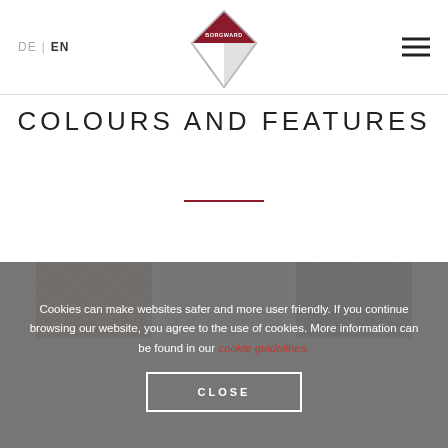DE | EN  [Borgward Logo]  [hamburger menu]
COLOURS AND FEATURES
[Figure (photo): Three quilted leather texture thumbnails: warm brown/tan, silver/light grey, dark grey]
Cookies can make websites safer and more user friendly. If you continue browsing our website, you agree to the use of cookies. More information can be found in our cookie guidelines.